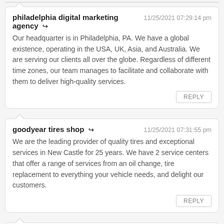philadelphia digital marketing agency → 11/25/2021 07:29:14 pm
Our headquarter is in Philadelphia, PA. We have a global existence, operating in the USA, UK, Asia, and Australia. We are serving our clients all over the globe. Regardless of different time zones, our team manages to facilitate and collaborate with them to deliver high-quality services.
REPLY
goodyear tires shop → 11/25/2021 07:31:55 pm
We are the leading provider of quality tires and exceptional services in New Castle for 25 years. We have 2 service centers that offer a range of services from an oil change, tire replacement to everything your vehicle needs, and delight our customers.
REPLY
auto body shop → 11/25/2021 07:33:45 pm